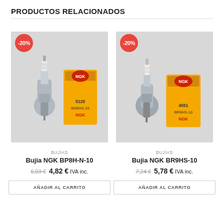PRODUCTOS RELACIONADOS
[Figure (photo): NGK BP8H-N-10 spark plug next to its yellow NGK box labeled 5128 BR8HS-10, with a -20% red circular badge in the top-left corner]
BUJÍAS
Bujia NGK BP8H-N-10
6,03 €  4,82 € IVA inc.
AÑADIR AL CARRITO
[Figure (photo): NGK BR9HS-10 spark plug next to its yellow NGK box labeled 4551 BR9HS-10, with a -20% red circular badge in the top-left corner]
BUJÍAS
Bujia NGK BR9HS-10
7,24 €  5,78 € IVA inc.
AÑADIR AL CARRITO